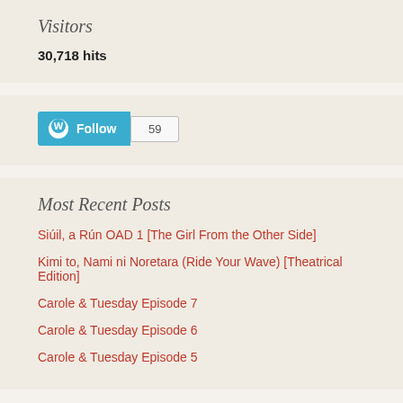Visitors
30,718 hits
[Figure (other): WordPress Follow button with count badge showing 59 followers]
Most Recent Posts
Siúil, a Rún OAD 1 [The Girl From the Other Side]
Kimi to, Nami ni Noretara (Ride Your Wave) [Theatrical Edition]
Carole & Tuesday Episode 7
Carole & Tuesday Episode 6
Carole & Tuesday Episode 5